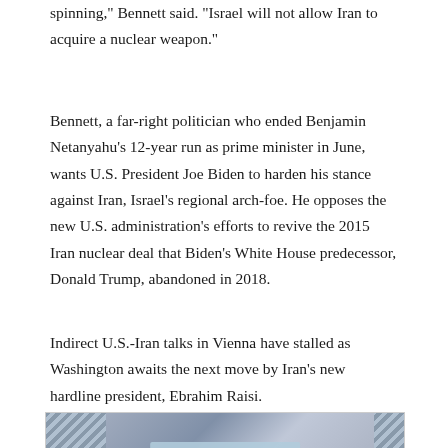spinning," Bennett said. "Israel will not allow Iran to acquire a nuclear weapon."
Bennett, a far-right politician who ended Benjamin Netanyahu's 12-year run as prime minister in June, wants U.S. President Joe Biden to harden his stance against Iran, Israel's regional arch-foe. He opposes the new U.S. administration's efforts to revive the 2015 Iran nuclear deal that Biden's White House predecessor, Donald Trump, abandoned in 2018.
Indirect U.S.-Iran talks in Vienna have stalled as Washington awaits the next move by Iran's new hardline president, Ebrahim Raisi.
[Figure (photo): News article image with Privacy & Cookies Policy overlay banner]